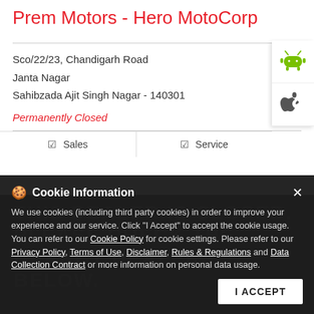Prem Motors - Hero MotoCorp
Sco/22/23, Chandigarh Road
Janta Nagar
Sahibzada Ajit Singh Nagar - 140301
Permanently Closed
☑ Sales   ☑ Service
Cookie Information
We use cookies (including third party cookies) in order to improve your experience and our service. Click "I Accept" to accept the cookie usage. You can refer to our Cookie Policy for cookie settings. Please refer to our Privacy Policy, Terms of Use, Disclaimer, Rules & Regulations and Data Collection Contract or more information on personal data usage.
I ACCEPT